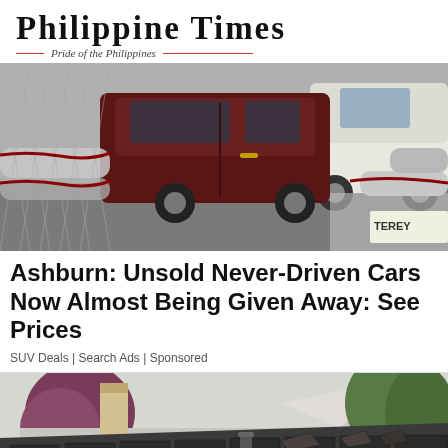Philippine Times — Pride of the Philippines
[Figure (photo): Aerial/side view of unsold SUVs in a car lot behind a chain-link fence with metal poles]
Ashburn: Unsold Never-Driven Cars Now Almost Being Given Away: See Prices
SUV Deals | Search Ads | Sponsored
[Figure (photo): Damaged roof with peeling shingles, a chimney, and trees in the background]